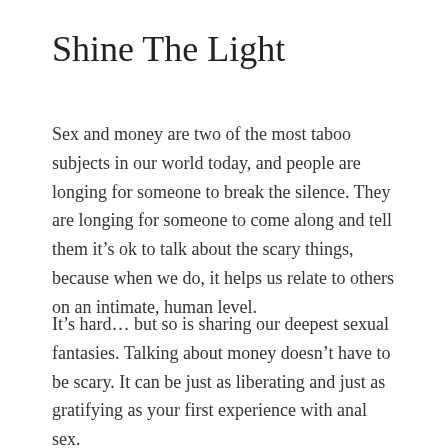Shine The Light
Sex and money are two of the most taboo subjects in our world today, and people are longing for someone to break the silence. They are longing for someone to come along and tell them it’s ok to talk about the scary things, because when we do, it helps us relate to others on an intimate, human level.
It’s hard… but so is sharing our deepest sexual fantasies. Talking about money doesn’t have to be scary. It can be just as liberating and just as gratifying as your first experience with anal sex.